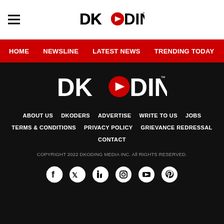DKODING (logo) with hamburger menu
HOME | NEWSLINE | LATEST NEWS | TRENDING TODAY | ENT
[Figure (logo): DKODING logo in white on black background]
ABOUT US
DKODERS
ADVERTISE
WRITE TO US
JOBS
TERMS & CONDITIONS
PRIVACY POLICY
GRIEVANCE REDRESSAL
CONTACT
COPYRIGHT 2022 DKODING MEDIA INC. All RIGHTS RESERVED.
[Figure (illustration): Social media icons: Facebook, Twitter, LinkedIn, Instagram, YouTube, Pinterest]